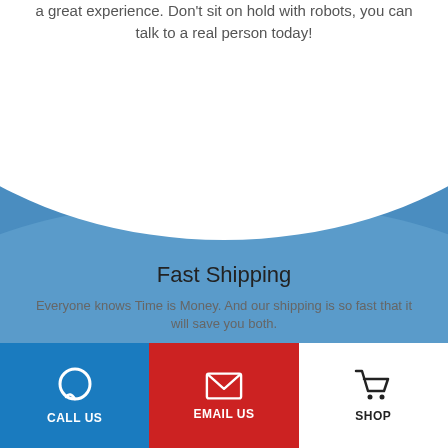a great experience. Don't sit on hold with robots, you can talk to a real person today!
[Figure (illustration): Blue wave/curved background graphic transitioning from white at top to medium blue at bottom]
Fast Shipping
Everyone knows Time is Money. And our shipping is so fast that it will save you both.
[Figure (infographic): Bottom navigation bar with three buttons: CALL US (blue background, chat icon), EMAIL US (red background, envelope icon), SHOP (white background, cart icon)]